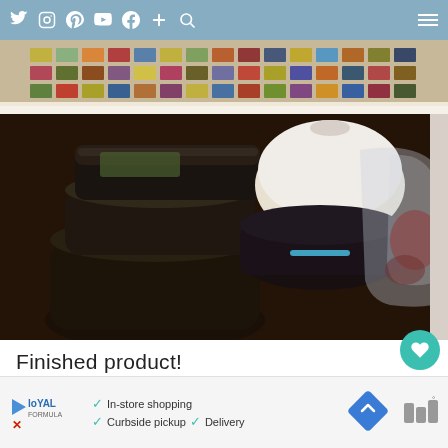Social media navigation bar with icons: Twitter, Instagram, Pinterest, YouTube, Facebook, Plus, Search, and hamburger menu
[Figure (photo): Photo of kitchen storage area under a colorful tile-decorated table. Dark stacked bowls/containers, a white round lid, a dark pot, and a plastic bag with items. Colorful tile mosaic pattern on the table top above.]
Finished product!
1
[Figure (infographic): Advertisement bar showing Loyal logo, checkmarks for In-store shopping, Curbside pickup, Delivery, a blue navigation diamond icon, and a weather icon]